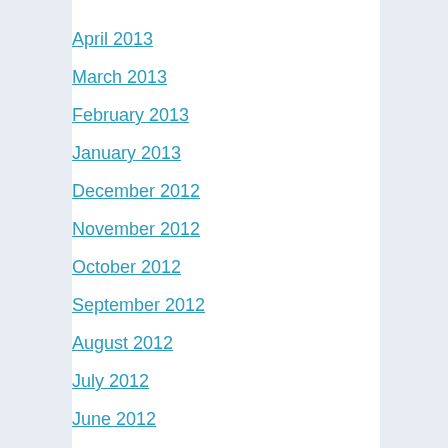April 2013
March 2013
February 2013
January 2013
December 2012
November 2012
October 2012
September 2012
August 2012
July 2012
June 2012
May 2012
April 2012
March 2012
February 2012
January 2012